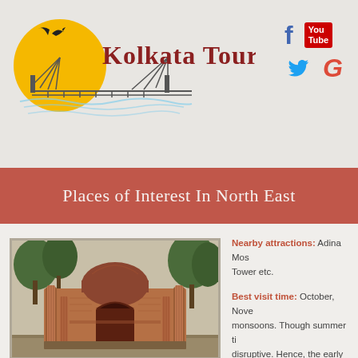Kolkata Tours
Places of Interest In North East
[Figure (photo): Ancient domed mosque with red brick architecture, arched entrance, and flanking pillars, surrounded by green trees]
Nearby attractions: Adina Mosque, Tower etc.
Best visit time: October, November monsoons. Though summer time disruptive. Hence, the early winters might also serve as a g...